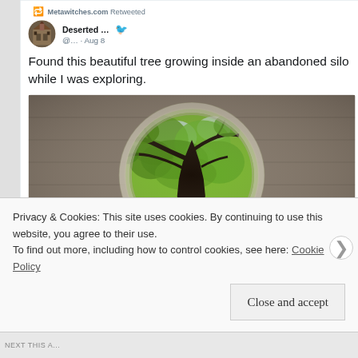Metawitches.com Retweeted
Deserted ... @... · Aug 8
Found this beautiful tree growing inside an abandoned silo while I was exploring.
[Figure (photo): View from inside a cylindrical silo looking up at a tree growing within it, with green foliage visible through the circular opening at the top. Dark tree silhouette against bright sky and leaves.]
Privacy & Cookies: This site uses cookies. By continuing to use this website, you agree to their use.
To find out more, including how to control cookies, see here: Cookie Policy
Close and accept